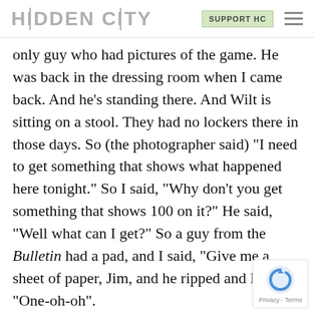HIDDEN CITY | SUPPORT HC
only guy who had pictures of the game. He was back in the dressing room when I came back. And he’s standing there. And Wilt is sitting on a stool. They had no lockers there in those days. So (the photographer said) “I need to get something that shows what happened here tonight.” So I said, “Why don’t you get something that shows 100 on it?” He said, “Well what can I get?” So a guy from the Bulletin had a pad, and I said, “Give me a sheet of paper, Jim, and he ripped and I wrote “One-oh-oh”.